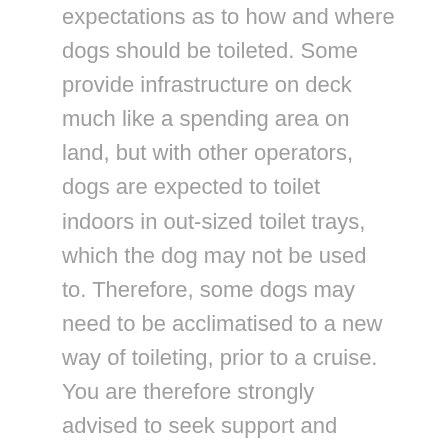expectations as to how and where dogs should be toileted. Some provide infrastructure on deck much like a spending area on land, but with other operators, dogs are expected to toilet indoors in out-sized toilet trays, which the dog may not be used to. Therefore, some dogs may need to be acclimatised to a new way of toileting, prior to a cruise. You are therefore strongly advised to seek support and advice from your Guide Dogs Community Team or the organisation who trained your dog prior to taking your dog on a cruise.
Also, in most cases, shipping operators will expect you to manage health related issues with your dog: